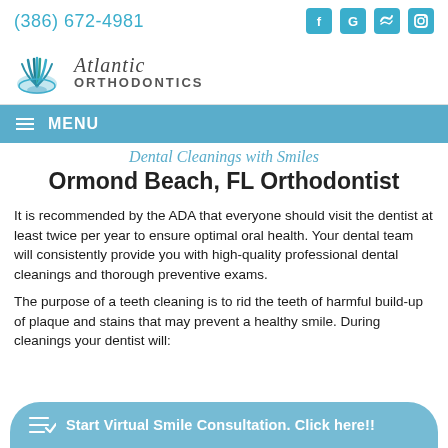(386) 672-4981
[Figure (logo): Atlantic Orthodontics logo with shell icon and stylized text]
≡ MENU
Dental Cleanings with Smiles Ormond Beach, FL Orthodontist
It is recommended by the ADA that everyone should visit the dentist at least twice per year to ensure optimal oral health. Your dental team will consistently provide you with high-quality professional dental cleanings and thorough preventive exams.
The purpose of a teeth cleaning is to rid the teeth of harmful build-up of plaque and stains that may prevent a healthy smile. During cleanings your dentist will:
Start Virtual Smile Consultation. Click here!!